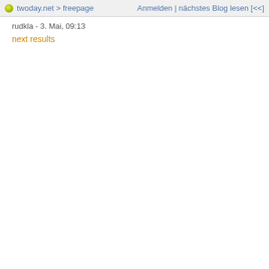twoday.net > freepage   Anmelden | nächstes Blog lesen [<<]
rudkla - 3. Mai, 09:13
next results